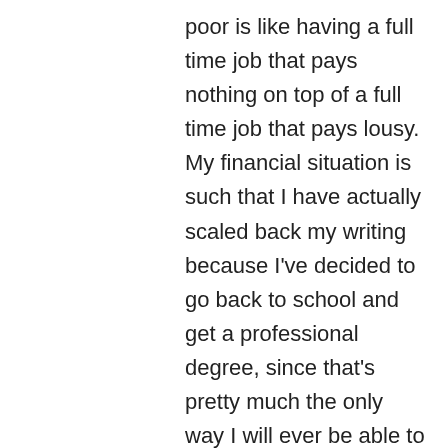poor is like having a full time job that pays nothing on top of a full time job that pays lousy. My financial situation is such that I have actually scaled back my writing because I've decided to go back to school and get a professional degree, since that's pretty much the only way I will ever be able to make enough money to live comfortably in my chosen profession (librarianship). If that makes me a hack – well, I'm a hack who somehow has to make the $40 in my bank account stretch until the 15th, so you'll forgive me if I'm fresh outta fucks to give.